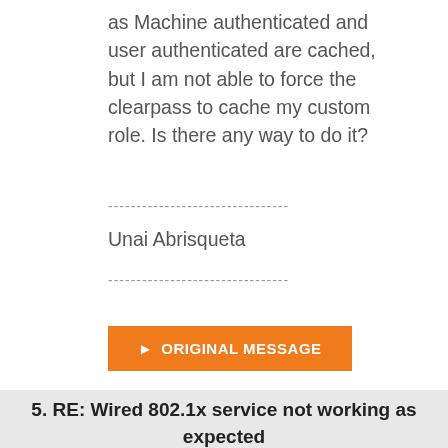as Machine authenticated and user authenticated are cached, but I am not able to force the clearpass to cache my custom role. Is there any way to do it?
--------------------------------
Unai Abrisqueta
--------------------------------
[Figure (other): Orange button labeled ORIGINAL MESSAGE with right-pointing arrow]
5.  RE: Wired 802.1x service not working as expected